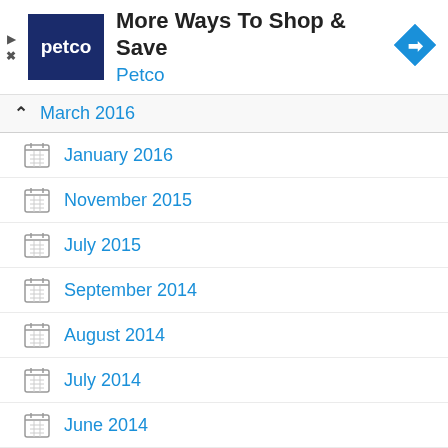[Figure (other): Petco advertisement banner with logo, title 'More Ways To Shop & Save', subtitle 'Petco', and navigation arrow icon]
March 2016
January 2016
November 2015
July 2015
September 2014
August 2014
July 2014
June 2014
April 2014
March 2014